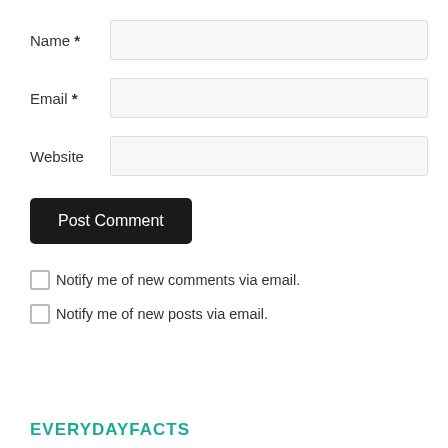Name *
Email *
Website
Post Comment
Notify me of new comments via email.
Notify me of new posts via email.
EVERYDAYFACTS